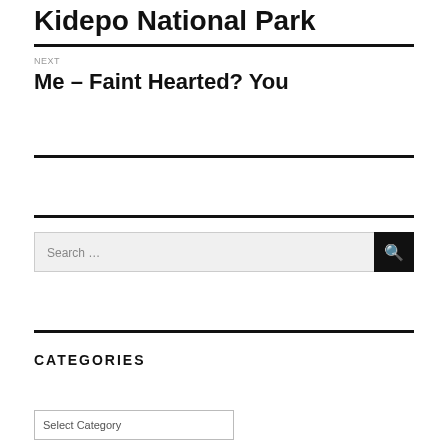Kidepo National Park
NEXT
Me – Faint Hearted? You
CATEGORIES
Select Category